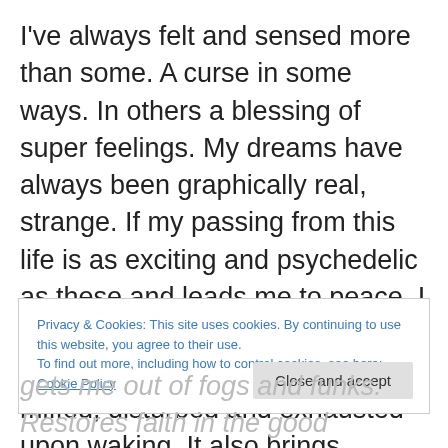I've always felt and sensed more than some. A curse in some ways. In others a blessing of super feelings. My dreams have always been graphically real, strange. If my passing from this life is as exciting and psychedelic as these and leads me to peace, I have no complaints! Walking through the veil can leave be miffed, disturbed and exhausted upon waking. It also brings fantastic feelings of hope, positivity Guardian Angel reassurance. They present a beautiful feminine and recognised energy to me and visit in differing forms.
Privacy & Cookies: This site uses cookies. By continuing to use this website, you agree to their use. To find out more, including how to control cookies, see here: Cookie Policy
gets me out of fogs and funks. Restores faith in the good